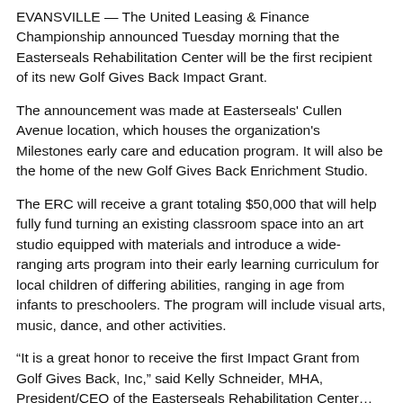EVANSVILLE — The United Leasing & Finance Championship announced Tuesday morning that the Easterseals Rehabilitation Center will be the first recipient of its new Golf Gives Back Impact Grant.
The announcement was made at Easterseals' Cullen Avenue location, which houses the organization's Milestones early care and education program. It will also be the home of the new Golf Gives Back Enrichment Studio.
The ERC will receive a grant totaling $50,000 that will help fully fund turning an existing classroom space into an art studio equipped with materials and introduce a wide-ranging arts program into their early learning curriculum for local children of differing abilities, ranging in age from infants to preschoolers. The program will include visual arts, music, dance, and other activities.
“It is a great honor to receive the first Impact Grant from Golf Gives Back, Inc,” said Kelly Schneider, MHA, President/CEO of the Easterseals Rehabilitation Center…